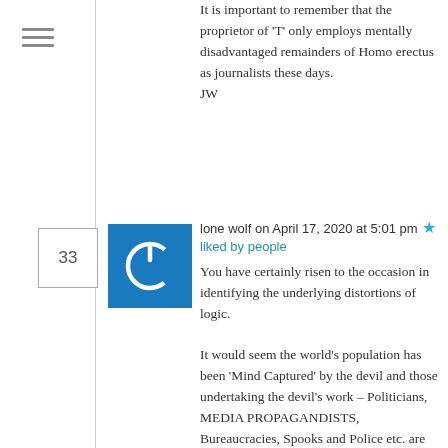It is important to remember that the proprietor of 'T' only employs mentally disadvantaged remainders of Homo erectus as journalists these days.
JW
lone wolf on April 17, 2020 at 5:01 pm
You have certainly risen to the occasion in identifying the underlying distortions of logic.
It would seem the world’s population has been ‘Mind Captured’ by the devil and those undertaking the devil’s work – Politicians, MEDIA PROPAGANDISTS, Bureaucracies, Spooks and Police etc. are unwittingly digging a hole they will themselves occupy, with the rest of us, on completion of the job.